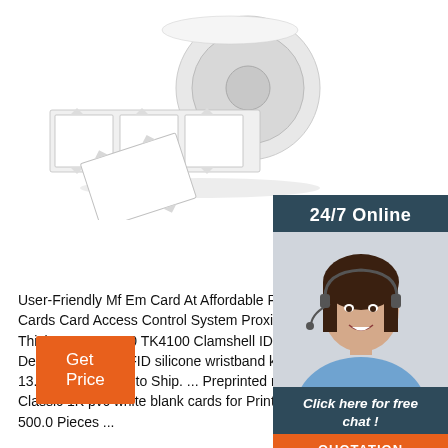[Figure (photo): A roll of white RFID label/tag stickers, showing individual tags partially unrolled, on a white background.]
[Figure (photo): Customer service agent, a woman with dark hair wearing a headset and blue shirt, smiling. Part of a 24/7 online chat sidebar with dark blue/teal background. Includes 'Click here for free chat!' text and orange QUOTATION button.]
User-Friendly Mf Em Card At Affordable Price - Alibaba Cards Card Access Control System Proximity Blank Thickness EM4100 TK4100 Clamshell ID RFID Thickness Design TK4100 RFID silicone wristband key card Em 13.56MHZ. Ready to Ship. ... Preprinted rfid 13.56mhz Classic 1K pvc white blank cards for Printer. $0.086-$0.12 Piece. 500.0 Pieces ...
[Figure (infographic): Orange 'Get Price' button]
[Figure (infographic): Orange dots in triangle arrangement with 'TOP' text below in orange]